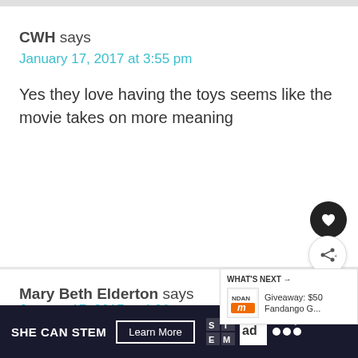CWH says
January 17, 2017 at 3:55 pm
Yes they love having the toys seems like the movie takes on more meaning
Mary Beth Elderton says
January 17, 2017 at 4:26 pm
WHAT'S NEXT → Giveaway: $50 Fandango G...
SHE CAN STEM  Learn More